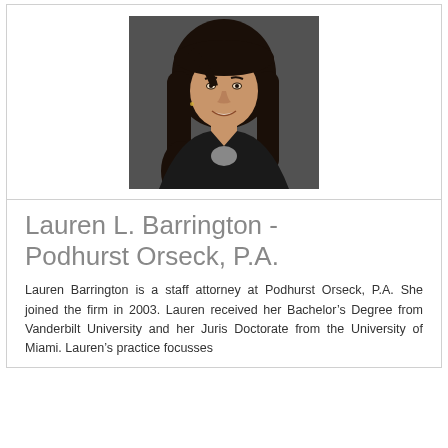[Figure (photo): Professional headshot of Lauren L. Barrington, a woman with long dark hair, wearing a dark blazer, smiling, against a dark grey background.]
Lauren L. Barrington - Podhurst Orseck, P.A.
Lauren Barrington is a staff attorney at Podhurst Orseck, P.A. She joined the firm in 2003. Lauren received her Bachelor's Degree from Vanderbilt University and her Juris Doctorate from the University of Miami. Lauren's practice focusses